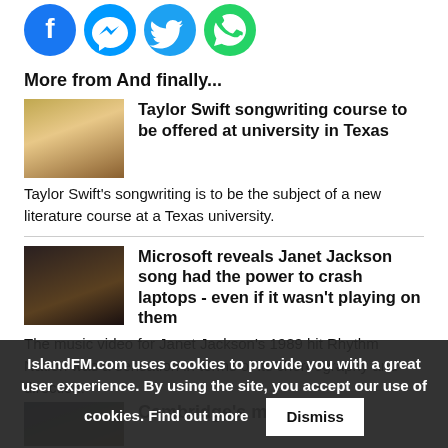[Figure (illustration): Row of four social media share icons: Facebook (blue circle), Messenger (blue circle), Twitter (light blue circle), WhatsApp (green circle)]
More from And finally...
[Figure (photo): Photo of Taylor Swift]
Taylor Swift songwriting course to be offered at university in Texas
Taylor Swift's songwriting is to be the subject of a new literature course at a Texas university.
[Figure (photo): Photo of Janet Jackson performing]
Microsoft reveals Janet Jackson song had the power to crash laptops - even if it wasn't playing on them
The music video for Janet Jackson's 1989 hit Rhythm Nation was a sensation in terms of its choreography and direction.
Cambridge's medieval...
IslandFM.com uses cookies to provide you with a great user experience. By using the site, you accept our use of cookies. Find out more
Dismiss